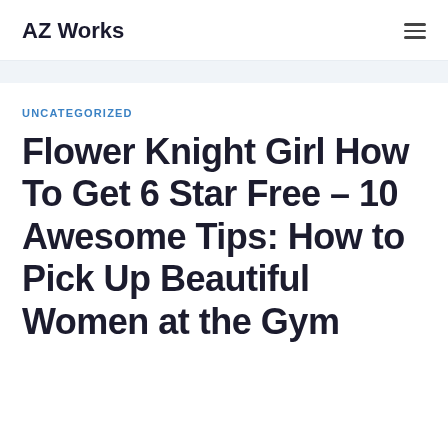AZ Works
UNCATEGORIZED
Flower Knight Girl How To Get 6 Star Free – 10 Awesome Tips: How to Pick Up Beautiful Women at the Gym